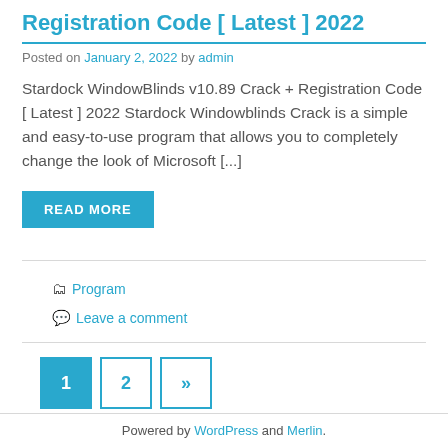Registration Code [ Latest ] 2022
Posted on January 2, 2022 by admin
Stardock WindowBlinds v10.89 Crack + Registration Code [ Latest ] 2022 Stardock Windowblinds Crack is a simple and easy-to-use program that allows you to completely change the look of Microsoft [...]
READ MORE
Program
Leave a comment
1 2 »
Powered by WordPress and Merlin.